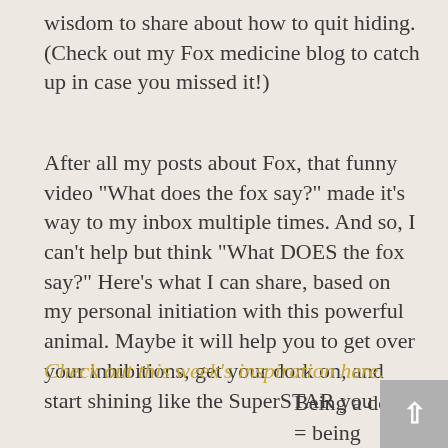wisdom to share about how to quit hiding. (Check out my Fox medicine blog to catch up in case you missed it!)
After all my posts about Fox, that funny video "What does the fox say?" made it's way to my inbox multiple times. And so, I can't help but think "What DOES the fox say?" Here's what I can share, based on my personal initiation with this powerful animal. Maybe it will help you to get over your inhibitions, get your dork on, and start shining like the SuperSTAR you are!
Check out this week's inspiration here.
Being a dork = being vulnerable = SUPER SCARY!